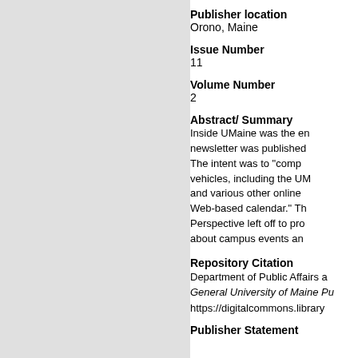Publisher location
Orono, Maine
Issue Number
11
Volume Number
2
Abstract/ Summary
Inside UMaine was the en newsletter was published The intent was to "comp vehicles, including the UM and various other online Web-based calendar." Th Perspective left off to pro about campus events an
Repository Citation
Department of Public Affairs a
General University of Maine Pu
https://digitalcommons.library
Publisher Statement